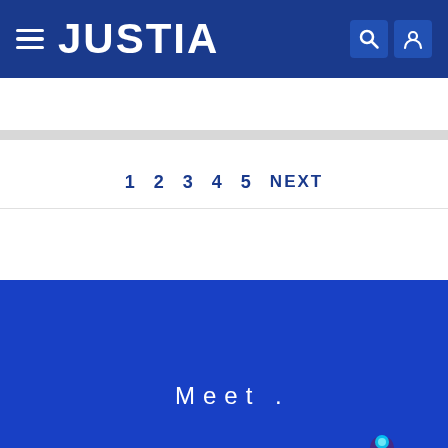JUSTIA
1  2  3  4  5  NEXT
[Figure (screenshot): Justia Connect promotional banner with 'Meet. JUSTIA Connect' text, a stylized hand illustration, and a 'Go Pro' red button on a blue background]